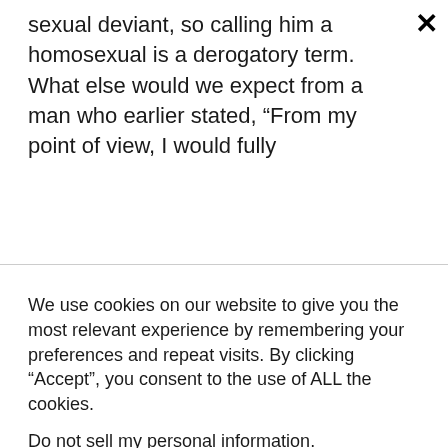sexual deviant, so calling him a homosexual is a derogatory term. What else would we expect from a man who earlier stated, “From my point of view, I would fully
We use cookies on our website to give you the most relevant experience by remembering your preferences and repeat visits. By clicking “Accept”, you consent to the use of ALL the cookies. Do not sell my personal information.